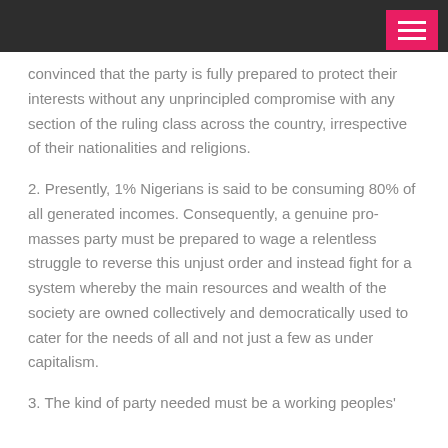[navigation bar with hamburger menu]
convinced that the party is fully prepared to protect their interests without any unprincipled compromise with any section of the ruling class across the country, irrespective of their nationalities and religions.
2. Presently, 1% Nigerians is said to be consuming 80% of all generated incomes. Consequently, a genuine pro-masses party must be prepared to wage a relentless struggle to reverse this unjust order and instead fight for a system whereby the main resources and wealth of the society are owned collectively and democratically used to cater for the needs of all and not just a few as under capitalism.
3. The kind of party needed must be a working peoples'